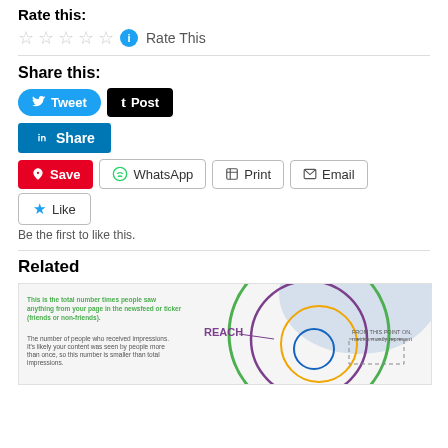Rate this:
★★★★★  ℹ Rate This
Share this:
Tweet  Post  Share  Save  WhatsApp  Print  Email
★ Like
Be the first to like this.
Related
[Figure (infographic): Infographic showing social media reach metrics with concentric circles labeled REACH and text about impressions and people who received impressions.]